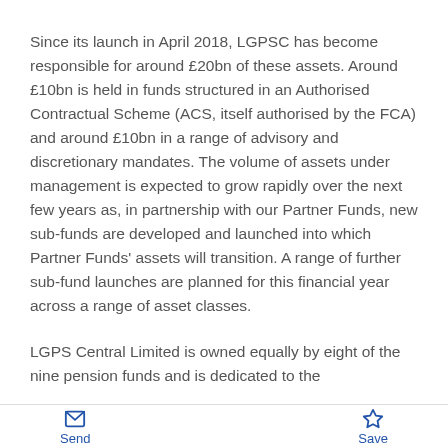Since its launch in April 2018, LGPSC has become responsible for around £20bn of these assets. Around £10bn is held in funds structured in an Authorised Contractual Scheme (ACS, itself authorised by the FCA) and around £10bn in a range of advisory and discretionary mandates. The volume of assets under management is expected to grow rapidly over the next few years as, in partnership with our Partner Funds, new sub-funds are developed and launched into which Partner Funds' assets will transition. A range of further sub-fund launches are planned for this financial year across a range of asset classes.
LGPS Central Limited is owned equally by eight of the nine pension funds and is dedicated to the
Send   Save